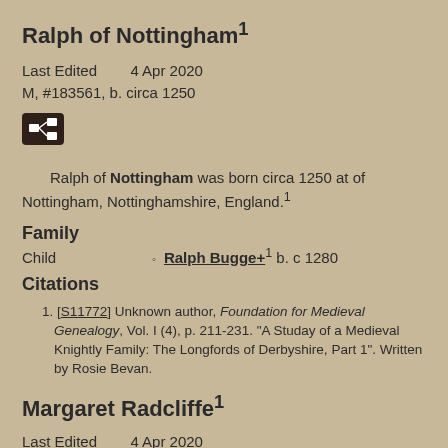Ralph of Nottingham¹
Last Edited    4 Apr 2020
M, #183561, b. circa 1250
Ralph of Nottingham was born circa 1250 at of Nottingham, Nottinghamshire, England.¹
Family
Child    ◦ Ralph Bugge+¹ b. c 1280
Citations
1. [S11772] Unknown author, Foundation for Medieval Genealogy, Vol. I (4), p. 211-231. "A Studay of a Medieval Knightly Family: The Longfords of Derbyshire, Part 1". Written by Rosie Bevan.
Margaret Radcliffe¹
Last Edited    4 Apr 2020
F, #183562, b. circa 1400, d. after 1471